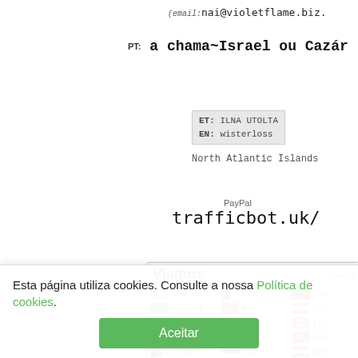(email: nai@violetflame.biz.
PT: a chama~Israel ou Cazár
ET: ILNA UTOLTA
EN: wisterloss
North Atlantic Islands
PayPal
trafficbot.uk/
[Figure (other): Visitors widget showing country flags and visitor counts: US 109,850 | 455 | 136; Brazil 40,144 | 440 | 126; Ireland 15,916 | 426 | 110; Portugal 9,352 | 413 | 108; Germany 2,932 | 352 | 108; Canada 2,776 | 334 | 107; 1,542 | 272 | 100]
Esta página utiliza cookies. Consulte a nossa Política de cookies.
Aceitar